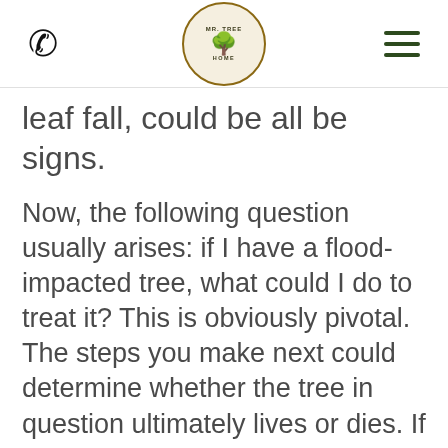Mr. Tree Home [logo] phone icon, hamburger menu
leaf fall, could be all be signs.
Now, the following question usually arises: if I have a flood-impacted tree, what could I do to treat it? This is obviously pivotal. The steps you make next could determine whether the tree in question ultimately lives or dies. If the tree is going to be sick, it may be best just to remove it, both for the tree’s sake and for aesthetic